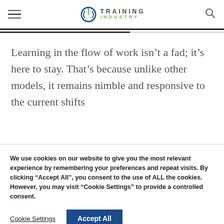Training Industry
Learning in the flow of work isn't a fad; it's here to stay. That's because unlike other models, it remains nimble and responsive to the current shifts
We use cookies on our website to give you the most relevant experience by remembering your preferences and repeat visits. By clicking “Accept All”, you consent to the use of ALL the cookies. However, you may visit “Cookie Settings” to provide a controlled consent.